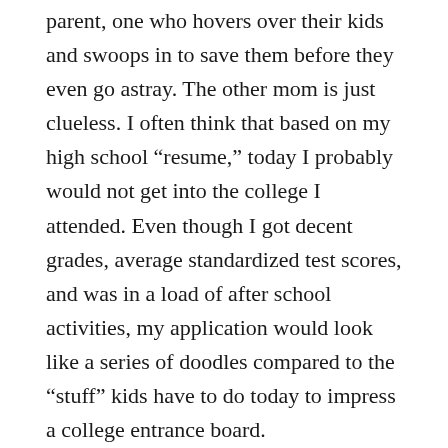parent, one who hovers over their kids and swoops in to save them before they even go astray. The other mom is just clueless. I often think that based on my high school “resume,” today I probably would not get into the college I attended. Even though I got decent grades, average standardized test scores, and was in a load of after school activities, my application would look like a series of doodles compared to the “stuff” kids have to do today to impress a college entrance board.
Back in 1984 when I graduated high school, to get into a state university you basically needed to score a 1000 on the SAT, have at least a B average, and a sprinkle of after school activities. Today, the stakes